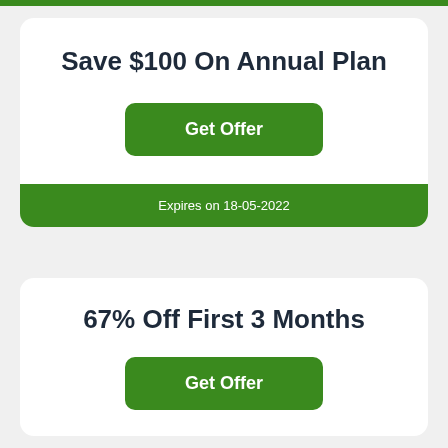Save $100 On Annual Plan
Get Offer
Expires on 18-05-2022
67% Off First 3 Months
Get Offer